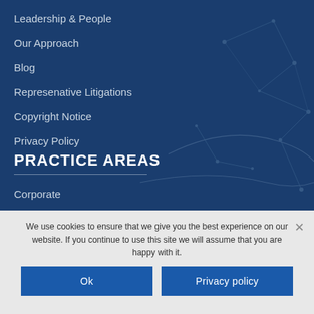Leadership & People
Our Approach
Blog
Represenative Litigations
Copyright Notice
Privacy Policy
PRACTICE AREAS
Corporate
We use cookies to ensure that we give you the best experience on our website. If you continue to use this site we will assume that you are happy with it.